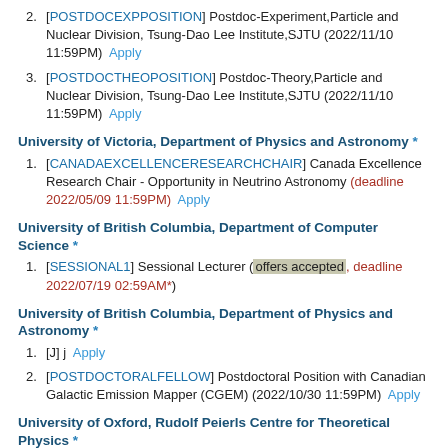2. [POSTDOCEXPPOSITION] Postdoc-Experiment,Particle and Nuclear Division, Tsung-Dao Lee Institute,SJTU (2022/11/10 11:59PM)  Apply
3. [POSTDOCTHEOPOSITION] Postdoc-Theory,Particle and Nuclear Division, Tsung-Dao Lee Institute,SJTU (2022/11/10 11:59PM)  Apply
University of Victoria, Department of Physics and Astronomy *
1. [CANADAEXCELLENCERESEARCHCHAIR] Canada Excellence Research Chair - Opportunity in Neutrino Astronomy (deadline 2022/05/09 11:59PM)  Apply
University of British Columbia, Department of Computer Science *
1. [SESSIONAL1] Sessional Lecturer (offers accepted, deadline 2022/07/19 02:59AM*)
University of British Columbia, Department of Physics and Astronomy *
1. [J] j  Apply
2. [POSTDOCTORALFELLOW] Postdoctoral Position with Canadian Galactic Emission Mapper (CGEM) (2022/10/30 11:59PM)  Apply
University of Oxford, Rudolf Peierls Centre for Theoretical Physics *
1. [153339] Postdoctoral Research Assistant in Plasma Theory for Fusion Energy